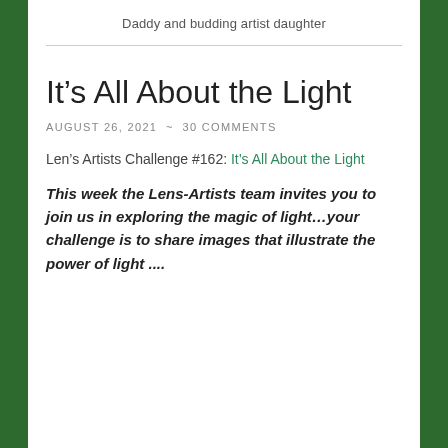Daddy and budding artist daughter
It’s All About the Light
AUGUST 26, 2021  ~  30 COMMENTS
Len’s Artists Challenge #162: It’s All About the Light
This week the Lens-Artists team invites you to join us in exploring the magic of light…your challenge is to share images that illustrate the power of light ....